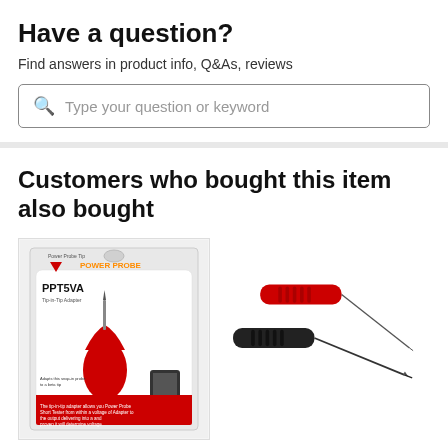Have a question?
Find answers in product info, Q&As, reviews
Type your question or keyword
Customers who bought this item also bought
[Figure (photo): Power Probe PPT5VA product in retail packaging — red rubber tip adapter with needle probe tip, shown in blister pack labeled PPT5VA with Power Probe branding]
[Figure (photo): Two test probe pins — one black and one red — with needle tips, partial view]